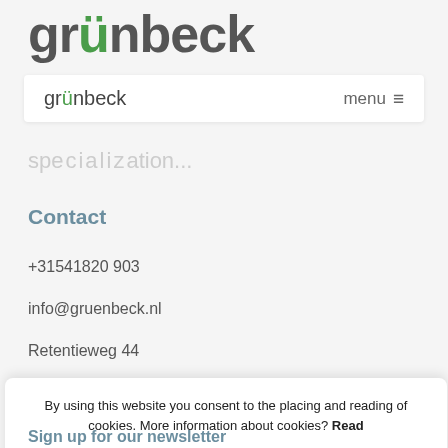grünbeck
[Figure (logo): Grünbeck logo in navigation bar]
menu ≡
sp...
Contact
+31541820 903
info@gruenbeck.nl
Retentieweg 44
By using this website you consent to the placing and reading of cookies. More information about cookies? Read
more
Accept
[Figure (illustration): Dutch flag, UK flag, German flag]
Sign up for our newsletter